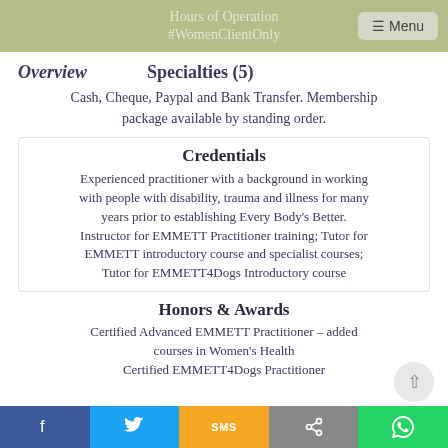Hours of Operation
#WomenClientOnly
Overview   Specialties (5)
Cash, Cheque, Paypal and Bank Transfer. Membership package available by standing order.
Credentials
Experienced practitioner with a background in working with people with disability, trauma and illness for many years prior to establishing Every Body's Better. Instructor for EMMETT Practitioner training; Tutor for EMMETT introductory course and specialist courses; Tutor for EMMETT4Dogs Introductory course
Honors & Awards
Certified Advanced EMMETT Practitioner – added courses in Women's Health
Certified EMMETT4Dogs Practitioner